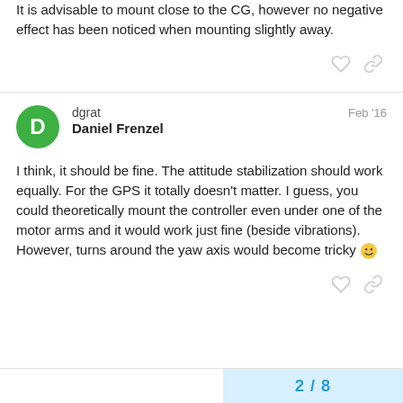It is advisable to mount close to the CG, however no negative effect has been noticed when mounting slightly away.
dgrat
Daniel Frenzel
Feb '16
I think, it should be fine. The attitude stabilization should work equally. For the GPS it totally doesn't matter. I guess, you could theoretically mount the controller even under one of the motor arms and it would work just fine (beside vibrations). However, turns around the yaw axis would become tricky 😀
2 / 8